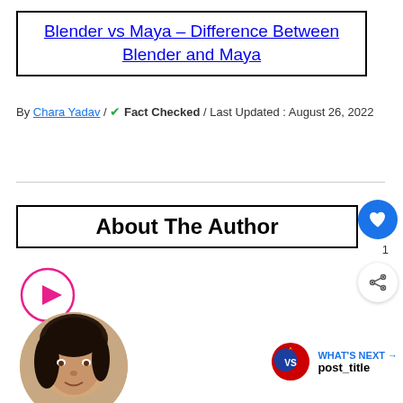Blender vs Maya – Difference Between Blender and Maya
By Chara Yadav / ✔ Fact Checked / Last Updated : August 26, 2022
About The Author
[Figure (photo): Circular author photo of a woman with dark hair]
[Figure (infographic): What's Next widget with VS icon and post_title label]